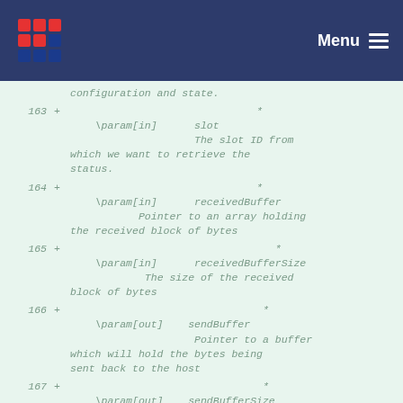Menu
163 + * \param[in] slot The slot ID from which we want to retrieve the status.
164 + * \param[in] receivedBuffer Pointer to an array holding the received block of bytes
165 + * \param[in] receivedBufferSize The size of the received block of bytes
166 + * \param[out] sendBuffer Pointer to a buffer which will hold the bytes being sent back to the host
167 + * \param[out] sendBufferSize